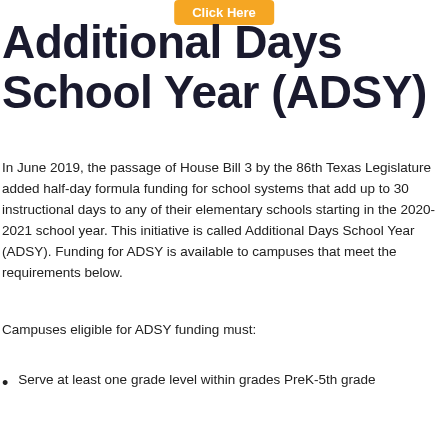Additional Days School Year (ADSY)
In June 2019, the passage of House Bill 3 by the 86th Texas Legislature added half-day formula funding for school systems that add up to 30 instructional days to any of their elementary schools starting in the 2020-2021 school year. This initiative is called Additional Days School Year (ADSY). Funding for ADSY is available to campuses that meet the requirements below.
Campuses eligible for ADSY funding must:
Serve at least one grade level within grades PreK-5th grade